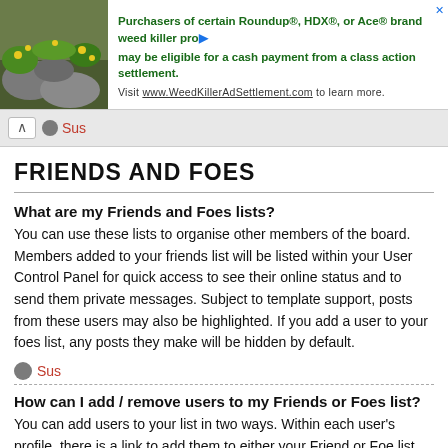[Figure (photo): Advertisement banner with nature/plant background photo and text about Roundup class action settlement]
Sus
FRIENDS AND FOES
What are my Friends and Foes lists?
You can use these lists to organise other members of the board. Members added to your friends list will be listed within your User Control Panel for quick access to see their online status and to send them private messages. Subject to template support, posts from these users may also be highlighted. If you add a user to your foes list, any posts they make will be hidden by default.
Sus
How can I add / remove users to my Friends or Foes list?
You can add users to your list in two ways. Within each user's profile, there is a link to add them to either your Friend or Foe list. Alternatively, from your User Control Panel, you can directly add